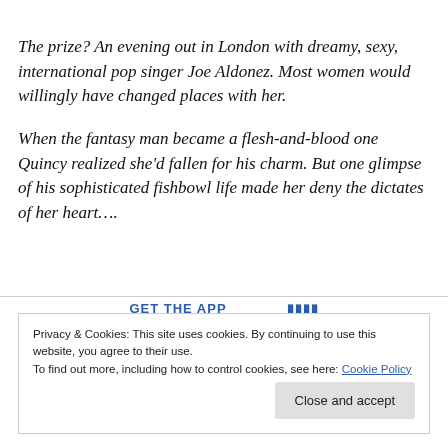The prize? An evening out in London with dreamy, sexy, international pop singer Joe Aldonez. Most women would willingly have changed places with her.
When the fantasy man became a flesh-and-blood one Quincy realized she'd fallen for his charm. But one glimpse of his sophisticated fishbowl life made her deny the dictates of her heart….
GET THE APP
Privacy & Cookies: This site uses cookies. By continuing to use this website, you agree to their use.
To find out more, including how to control cookies, see here: Cookie Policy
Close and accept